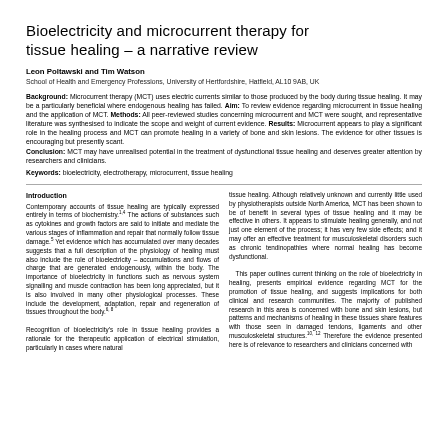Bioelectricity and microcurrent therapy for tissue healing – a narrative review
Leon Poltawski and Tim Watson
School of Health and Emergency Professions, University of Hertfordshire, Hatfield, AL10 9AB, UK
Background: Microcurrent therapy (MCT) uses electric currents similar to those produced by the body during tissue healing. It may be a particularly beneficial where endogenous healing has failed. Aim: To review evidence regarding microcurrent in tissue healing and the application of MCT. Methods: All peer-reviewed studies concerning microcurrent and MCT were sought, and representative literature was synthesised to indicate the scope and weight of current evidence. Results: Microcurrent appears to play a significant role in the healing process and MCT can promote healing in a variety of bone and skin lesions. The evidence for other tissues is encouraging but presently scant. Conclusion: MCT may have unrealised potential in the treatment of dysfunctional tissue healing and deserves greater attention by researchers and clinicians.
Keywords: bioelectricity, electrotherapy, microcurrent, tissue healing
Introduction
Contemporary accounts of tissue healing are typically expressed entirely in terms of biochemistry.1,4 The actions of substances such as cytokines and growth factors are said to initiate and mediate the various stages of inflammation and repair that normally follow tissue damage.5 Yet evidence which has accumulated over many decades suggests that a full description of the physiology of healing must also include the role of bioelectricity – accumulations and flows of charge that are generated endogenously, within the body. The importance of bioelectricity in functions such as nervous system signalling and muscle contraction has been long appreciated, but it is also involved in many other physiological processes. These include the development, adaptation, repair and regeneration of tissues throughout the body.6, 8

Recognition of bioelectricity's role in tissue healing provides a rationale for the therapeutic application of electrical stimulation, particularly in cases where natural...
tissue healing. Although relatively unknown and currently little used by physiotherapists outside North America, MCT has been shown to be of benefit in several types of tissue healing and it may be effective in others. It appears to stimulate healing generally, and not just one element of the process; it has very few side effects; and it may offer an effective treatment for musculoskeletal disorders such as chronic tendinopathies where normal healing has become dysfunctional.

This paper outlines current thinking on the role of bioelectricity in healing, presents empirical evidence regarding MCT for the promotion of tissue healing, and suggests implications for both clinical and research communities. The majority of published research in this area is concerned with bone and skin lesions, but patterns and mechanisms of healing in these tissues share features with those seen in damaged tendons, ligaments and other musculoskeletal structures.10, 12 Therefore the evidence presented here is of relevance to researchers and clinicians concerned with